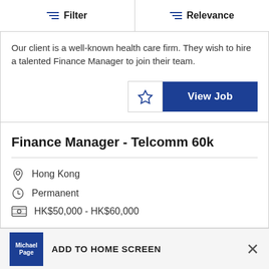Filter | Relevance
Our client is a well-known health care firm. They wish to hire a talented Finance Manager to join their team.
Finance Manager - Telcomm 60k
Hong Kong
Permanent
HK$50,000 - HK$60,000
ADD TO HOME SCREEN